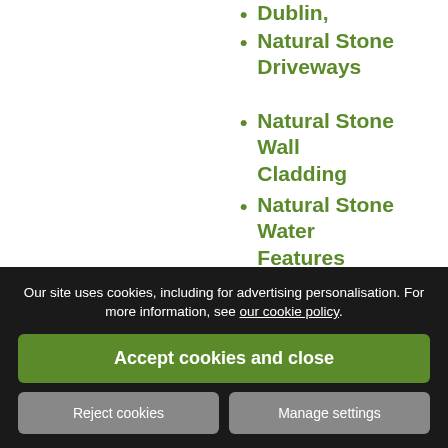Dublin,
Natural Stone Driveways
Natural Stone Wall Cladding
Natural Stone Water Features
No Maintenance Planting Ideas
Olive Trees
Outdoor Garden LED lighting
Our site uses cookies, including for advertising personalisation. For more information, see our cookie policy.
Accept cookies and close
Reject cookies
Manage settings